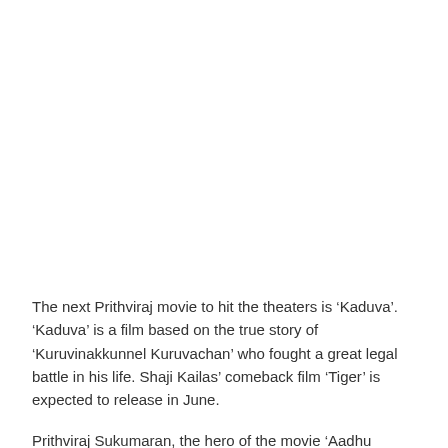The next Prithviraj movie to hit the theaters is ‘Kaduva’. ‘Kaduva’ is a film based on the true story of ‘Kuruvinakkunnel Kuruvachan’ who fought a great legal battle in his life. Shaji Kailas’ comeback film ‘Tiger’ is expected to release in June.
Prithviraj Sukumaran, the hero of the movie ‘Aadhu